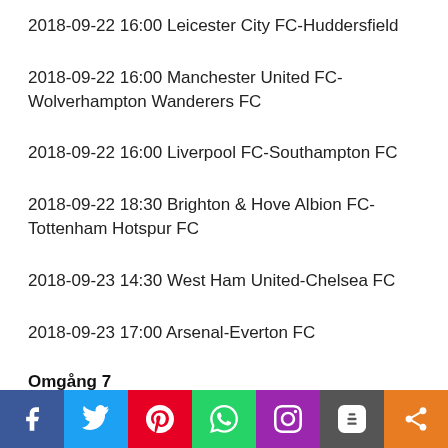2018-09-22 16:00 Leicester City FC-Huddersfield
2018-09-22 16:00 Manchester United FC-Wolverhampton Wanderers FC
2018-09-22 16:00 Liverpool FC-Southampton FC
2018-09-22 18:30 Brighton & Hove Albion FC-Tottenham Hotspur FC
2018-09-23 14:30 West Ham United-Chelsea FC
2018-09-23 17:00 Arsenal-Everton FC
Omgång 7